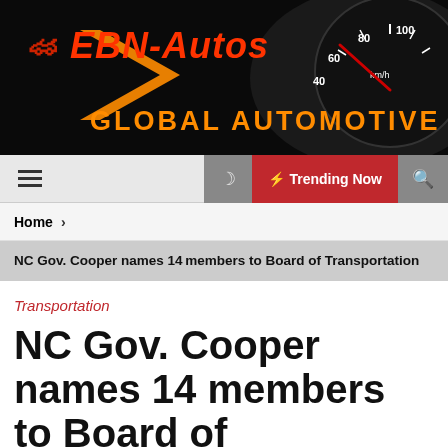[Figure (logo): EBN-Autos Global Automotive website header banner with logo text, orange chevron arrow, 'GLOBAL AUTOMOTIVE' text, and speedometer graphic on dark background]
☰  ☽  ⚡ Trending Now  🔍
Home >
NC Gov. Cooper names 14 members to Board of Transportation
Transportation
NC Gov. Cooper names 14 members to Board of